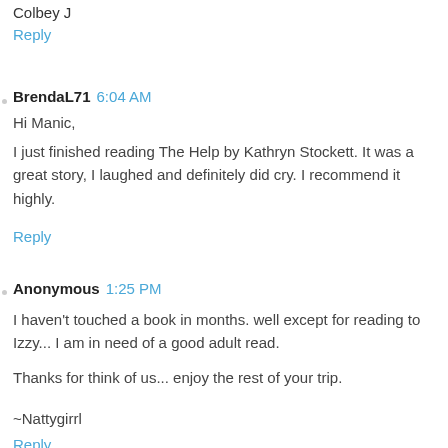Colbey J
Reply
BrendaL71  6:04 AM
Hi Manic,
I just finished reading The Help by Kathryn Stockett. It was a great story, I laughed and definitely did cry. I recommend it highly.
Reply
Anonymous  1:25 PM
I haven't touched a book in months. well except for reading to Izzy... I am in need of a good adult read.
Thanks for think of us... enjoy the rest of your trip.
~Nattygirrl
Reply